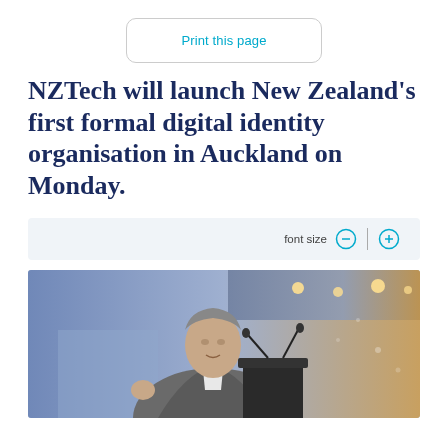Print this page
NZTech will launch New Zealand's first formal digital identity organisation in Auckland on Monday.
font size
[Figure (photo): A man in a suit speaking at a podium with microphones at a conference event, with a blue-lit background.]